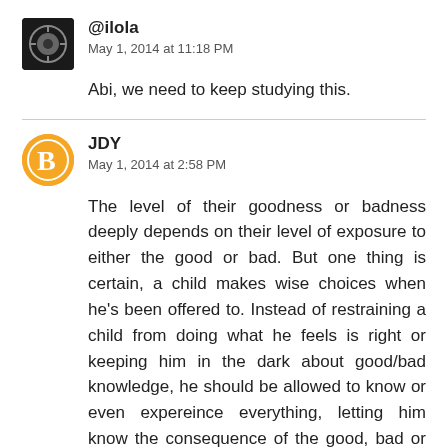[Figure (photo): Avatar image for user @ilola, circular/square black background with grey circular emblem]
@ilola
May 1, 2014 at 11:18 PM
Abi, we need to keep studying this.
[Figure (logo): Blogger orange circle avatar with white B letter for user JDY]
JDY
May 1, 2014 at 2:58 PM
The level of their goodness or badness deeply depends on their level of exposure to either the good or bad. But one thing is certain, a child makes wise choices when he's been offered to. Instead of restraining a child from doing what he feels is right or keeping him in the dark about good/bad knowledge, he should be allowed to know or even expereince everything, letting him know the consequence of the good, bad or the